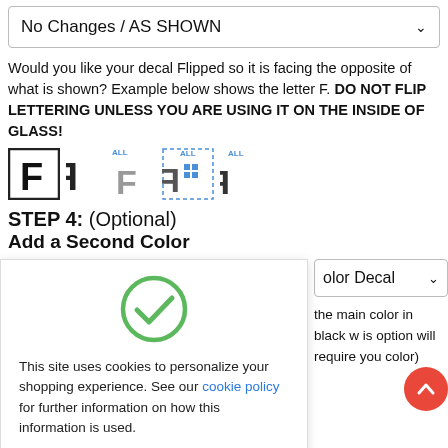No Changes / AS SHOWN
Would you like your decal Flipped so it is facing the opposite of what is shown? Example below shows the letter F. DO NOT FLIP LETTERING UNLESS YOU ARE USING IT ON THE INSIDE OF GLASS!
[Figure (illustration): Five letter F variants showing normal, mirrored, and flipped versions of the letter F as decal examples]
STEP 4: (Optional)
Add a Second Color
[Figure (illustration): Green checkmark circle icon]
This site uses cookies to personalize your shopping experience. See our cookie policy for further information on how this information is used.
Got It!
olor Decal
the main color in black w is option will require you color)
STEP 5: (Optional)